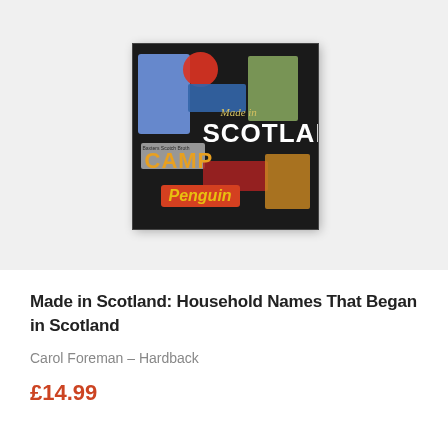[Figure (photo): Book cover for 'Made in Scotland: Household Names That Began in Scotland' by Carol Foreman. Dark background with vintage product labels including CAMP coffee, Penguin biscuits, and other Scottish branded goods.]
Made in Scotland: Household Names That Began in Scotland
Carol Foreman – Hardback
£14.99